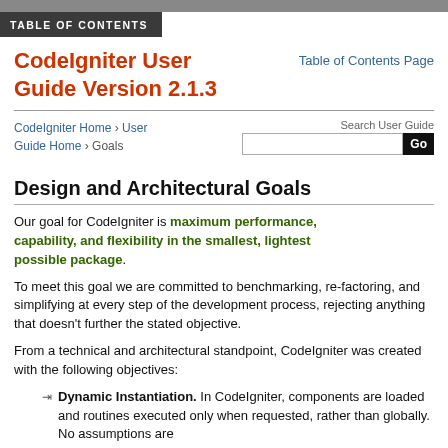TABLE OF CONTENTS
CodeIgniter User Guide Version 2.1.3
Table of Contents Page
CodeIgniter Home › User Guide Home › Goals
Design and Architectural Goals
Our goal for CodeIgniter is maximum performance, capability, and flexibility in the smallest, lightest possible package.
To meet this goal we are committed to benchmarking, re-factoring, and simplifying at every step of the development process, rejecting anything that doesn't further the stated objective.
From a technical and architectural standpoint, CodeIgniter was created with the following objectives:
Dynamic Instantiation. In CodeIgniter, components are loaded and routines executed only when requested, rather than globally. No assumptions are